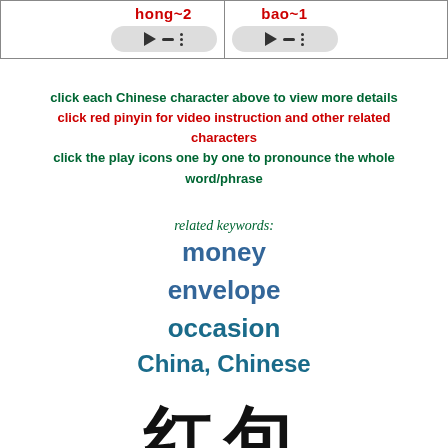[Figure (other): Two audio player cells with red pinyin labels 'hong~2' and 'bao~1' and playback controls]
click each Chinese character above to view more details
click red pinyin for video instruction and other related characters
click the play icons one by one to pronounce the whole word/phrase
related keywords:
money
envelope
occasion
China, Chinese
[Figure (other): Large Chinese characters at bottom of page]